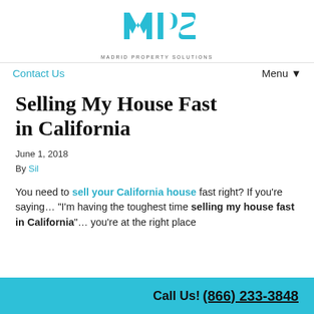[Figure (logo): Madrid Property Solutions logo with teal MPS letters and company name below]
Contact Us    Menu ▼
Selling My House Fast in California
June 1, 2018
By Sil
You need to sell your California house fast right? If you're saying… "I'm having the toughest time selling my house fast in California"… you're at the right place
Call Us! (866) 233-3848